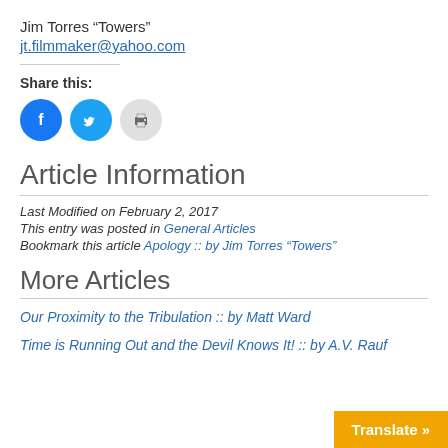Jim Torres “Towers”
jt.filmmaker@yahoo.com
Share this:
[Figure (other): Social share icons: Facebook (blue circle), Twitter (blue circle), Print (grey circle)]
Article Information
Last Modified on February 2, 2017
This entry was posted in General Articles
Bookmark this article Apology :: by Jim Torres “Towers”
More Articles
Our Proximity to the Tribulation :: by Matt Ward
Time is Running Out and the Devil Knows It! :: by A.V. Rauf
Translate »